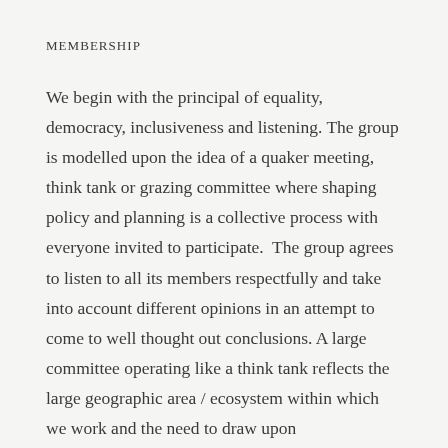MEMBERSHIP
We begin with the principal of equality, democracy, inclusiveness and listening. The group is modelled upon the idea of a quaker meeting, think tank or grazing committee where shaping policy and planning is a collective process with everyone invited to participate.  The group agrees to listen to all its members respectfully and take into account different opinions in an attempt to come to well thought out conclusions. A large committee operating like a think tank reflects the large geographic area / ecosystem within which we work and the need to draw upon